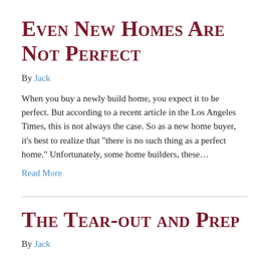Even New Homes Are Not Perfect
By Jack
When you buy a newly build home, you expect it to be perfect. But according to a recent article in the Los Angeles Times, this is not always the case. So as a new home buyer, it’s best to realize that “there is no such thing as a perfect home.” Unfortunately, some home builders, these…
Read More
The Tear-out and Prep
By Jack